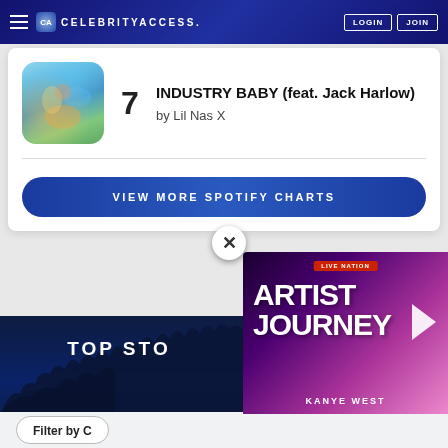CELEBRITYACCESS. LOGIN JOIN
7 INDUSTRY BABY (feat. Jack Harlow) by Lil Nas X
VIEW MORE SPOTIFY CHARTS
TOP STO...
Filter by
[Figure (screenshot): Live Nation Artist Journey ad overlay featuring Kanye West with purple gradient background]
LIVE NATION ARTIST JOURNEY KANYE WEST